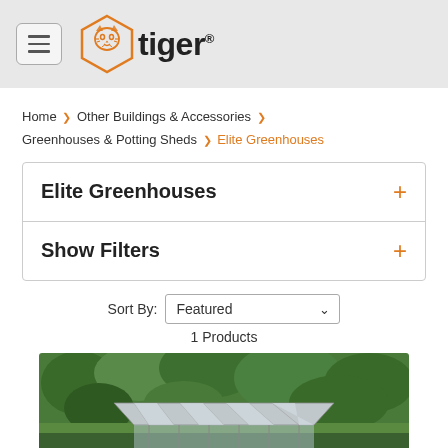[Figure (logo): Tiger brand logo with orange hexagon tiger head icon and bold 'tiger' text]
Home > Other Buildings & Accessories > Greenhouses & Potting Sheds > Elite Greenhouses
Elite Greenhouses +
Show Filters +
Sort By: Featured  1 Products
[Figure (photo): Photo of a glass greenhouse with silver roof panels, surrounded by green hedges and trees]